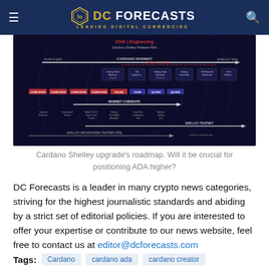DC FORECASTS | LEADING DIGITAL CURRENCIES
[Figure (infographic): Cardano Shelley upgrade roadmap showing Byron Era, Shelley Era phases with timeline arrows, milestones including Mainnet Hardfork, Staking pools, ITN Rewards, and Shelley infrastructure testing on dark navy background]
Cardano Shelley upgrade's roadmap. Will it be crucial for positioning ADA higher?
DC Forecasts is a leader in many crypto news categories, striving for the highest journalistic standards and abiding by a strict set of editorial policies. If you are interested to offer your expertise or contribute to our news website, feel free to contact us at editor@dcforecasts.com
Tags: Cardano   cardano ada   cardano creator